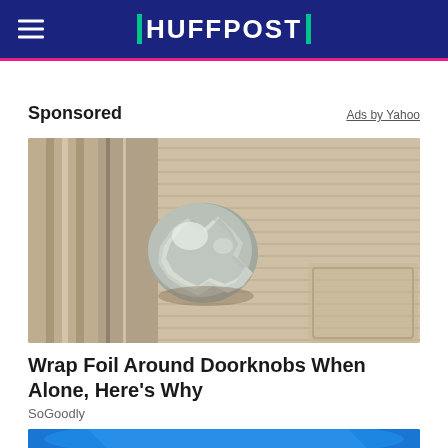HUFFPOST
Sponsored
Ads by Yahoo
[Figure (photo): A door knob wrapped in aluminum foil on a beige/tan paneled door]
Wrap Foil Around Doorknobs When Alone, Here's Why
SoGoodly
[Figure (photo): Partial view of a blue car, top portion visible]